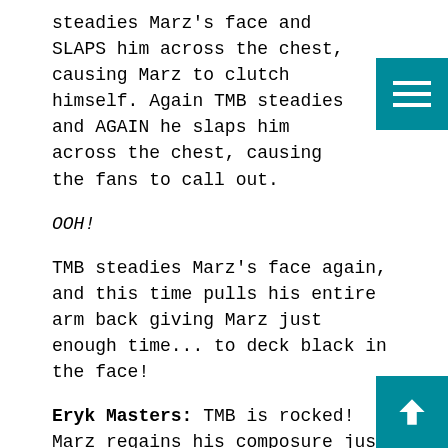steadies Marz's face and SLAPS him across the chest, causing Marz to clutch himself. Again TMB steadies and AGAIN he slaps him across the chest, causing the fans to call out.
OOH!
TMB steadies Marz's face again, and this time pulls his entire arm back giving Marz just enough time... to deck black in the face!
Eryk Masters: TMB is rocked! Marz regains his composure just in time to catch TMB!
TMB wobbles a bit but doesn't fall, catching Marz with a right jab of his own! The fans boo in unison! Marz sends a STINGING kick to the leg of TMB and TMB returns the favor! The crowd begins to get rowdy as Marz and TMB trade HEAVY shots back and forth, neither man giving an